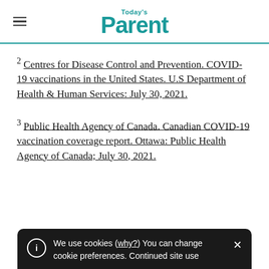Today's Parent
2 Centres for Disease Control and Prevention. COVID-19 vaccinations in the United States. U.S Department of Health & Human Services: July 30, 2021.
3 Public Health Agency of Canada. Canadian COVID-19 vaccination coverage report. Ottawa: Public Health Agency of Canada; July 30, 2021.
We use cookies (why?) You can change cookie preferences. Continued site use